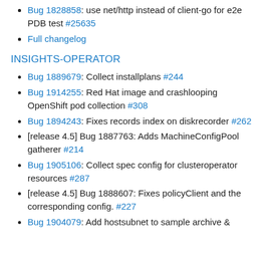Bug 1828858: use net/http instead of client-go for e2e PDB test #25635
Full changelog
INSIGHTS-OPERATOR
Bug 1889679: Collect installplans #244
Bug 1914255: Red Hat image and crashlooping OpenShift pod collection #308
Bug 1894243: Fixes records index on diskrecorder #262
[release 4.5] Bug 1887763: Adds MachineConfigPool gatherer #214
Bug 1905106: Collect spec config for clusteroperator resources #287
[release 4.5] Bug 1888607: Fixes policyClient and the corresponding config. #227
Bug 1904079: Add hostsubnet to sample archive &